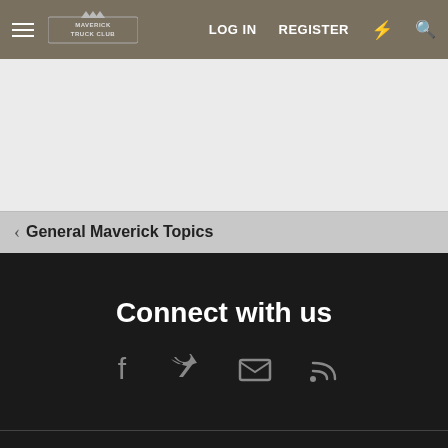≡ MAVERICK TRUCK CLUB  LOG IN  REGISTER  ⚡ 🔍
< General Maverick Topics
Connect with us
[Figure (infographic): Social media icons: Facebook, Twitter, Email/Envelope, RSS feed]